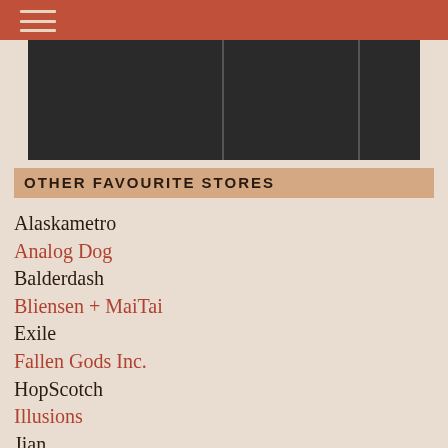[Figure (other): Dark banner/navigation area with dividers]
OTHER FAVOURITE STORES
Alaskametro
Analog Dog
Balderdash
Bliensen + MaiTai
Exile
Fallen Gods Inc.
HopScotch
Illusions
Jian
Libertine
LOGO
Magika
Musa